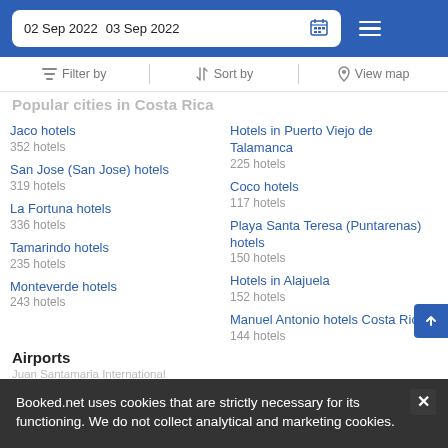02 Sep 2022   03 Sep 2022
Filter by  |  Sort by  |  View map
Popular cities in Costa Rica
Jaco hotels
352 hotels
Hotels in Puerto Viejo de Talamanca
225 hotels
San Jose (San Jose) hotels
319 hotels
Coco hotels
117 hotels
La Fortuna hotels
336 hotels
Playa Santa Teresa (Puntarenas) hotels
150 hotels
Tamarindo hotels
235 hotels
Hotels in Alajuela
152 hotels
Monteverde hotels
243 hotels
Manuel Antonio hotels Costa Rica
144 hotels
Airports
Juan Santamaria International
Booked.net uses cookies that are strictly necessary for its functioning. We do not collect analytical and marketing cookies.